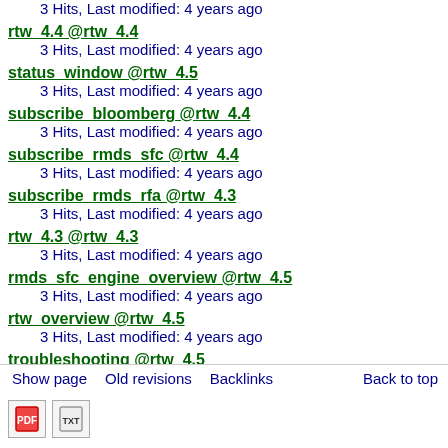rtw_4.4 @rtw_4.4
3 Hits, Last modified: 4 years ago
status_window @rtw_4.5
3 Hits, Last modified: 4 years ago
subscribe_bloomberg @rtw_4.4
3 Hits, Last modified: 4 years ago
subscribe_rmds_sfc @rtw_4.4
3 Hits, Last modified: 4 years ago
subscribe_rmds_rfa @rtw_4.3
3 Hits, Last modified: 4 years ago
rtw_4.3 @rtw_4.3
3 Hits, Last modified: 4 years ago
rmds_sfc_engine_overview @rtw_4.5
3 Hits, Last modified: 4 years ago
rtw_overview @rtw_4.5
3 Hits, Last modified: 4 years ago
troubleshooting @rtw_4.5
3 Hits, Last modified: 4 years ago
rtshare_com_interface_commands @rtw_4.5
3 Hits, Last modified: 4 years ago
rmds_rfa_engine_overview @rtw_4.5
3 Hits, Last modified: 4 years ago
rtw_rmds_rfa_engine @rtw_4.4
2 Hits, Last modified: 4 years ago
publish_rmds_rfa @rtw_4.3
Show page   Old revisions   Backlinks   Back to top